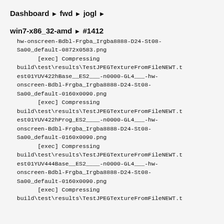Dashboard ▶ fwd ▶ jogl ▶
win7-x86_32-amd ▶ #1412
hw-onscreen-Bdbl-Frgba_Irgba8888-D24-St08-Sa00_default-0872x0583.png
        [exec] Compressing build\test\results\TestJPEGTextureFromFileNEWT.test01YUV422hBase__ES2___-n0000-GL4___-hw-onscreen-Bdbl-Frgba_Irgba8888-D24-St08-Sa00_default-0160x0090.png
        [exec] Compressing build\test\results\TestJPEGTextureFromFileNEWT.test01YUV422hProg_ES2____-n0000-GL4___-hw-onscreen-Bdbl-Frgba_Irgba8888-D24-St08-Sa00_default-0160x0090.png
        [exec] Compressing build\test\results\TestJPEGTextureFromFileNEWT.test01YUV444Base__ES2____-n0000-GL4___-hw-onscreen-Bdbl-Frgba_Irgba8888-D24-St08-Sa00_default-0160x0090.png
        [exec] Compressing build\test\results\TestJPEGTextureFromFileNEWT.t